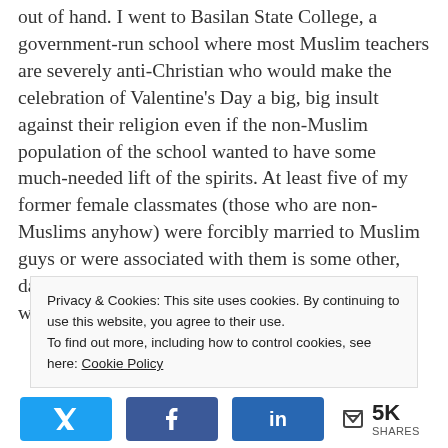out of hand. I went to Basilan State College, a government-run school where most Muslim teachers are severely anti-Christian who would make the celebration of Valentine's Day a big, big insult against their religion even if the non-Muslim population of the school wanted to have some much-needed lift of the spirits. At least five of my former female classmates (those who are non-Muslims anyhow) were forcibly married to Muslim guys or were associated with them is some other, darker ways; one of the girls I went to school with was raped and even
Privacy & Cookies: This site uses cookies. By continuing to use this website, you agree to their use.
To find out more, including how to control cookies, see here: Cookie Policy